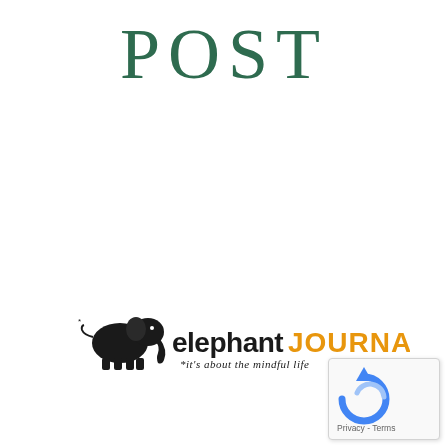POST
[Figure (logo): Elephant Journal logo with elephant silhouette, text 'elephant JOURNAL' and tagline '*it's about the mindful life']
[Figure (other): reCAPTCHA widget with Privacy and Terms links in bottom right corner]